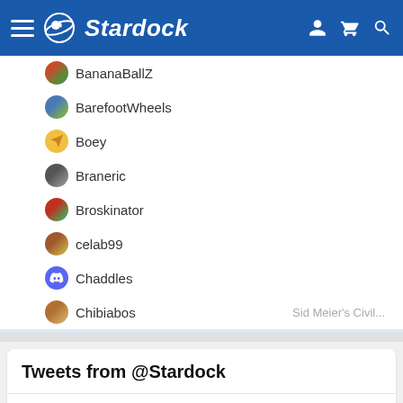Stardock
BananaBallZ
BarefootWheels
Boey
Braneric
Broskinator
celab99
Chaddles
Chibiabos — Sid Meier's Civil...
Conker the Red Squirrel
Hangout with people who get it
Tweets from @Stardock
Stardock @Stardock · Aug 26
Space exploration is something that